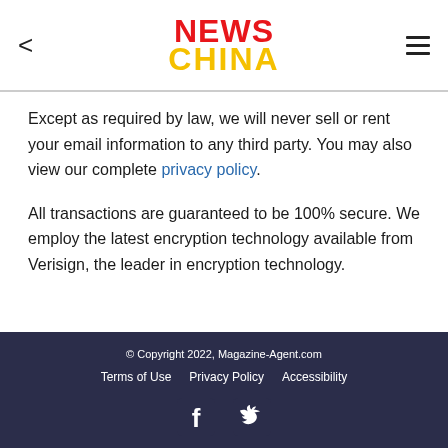NEWS CHINA
Except as required by law, we will never sell or rent your email information to any third party. You may also view our complete privacy policy.
All transactions are guaranteed to be 100% secure. We employ the latest encryption technology available from Verisign, the leader in encryption technology.
© Copyright 2022, Magazine-Agent.com
Terms of Use  Privacy Policy  Accessibility